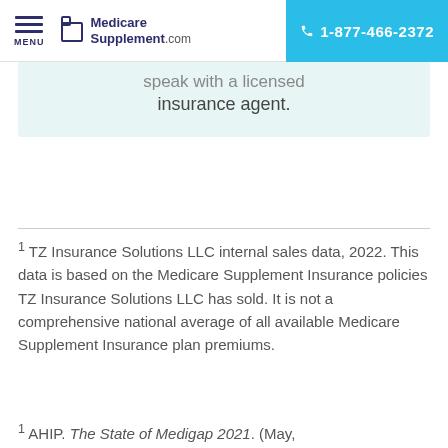MENU | Medicare Supplement.com | 1-877-466-2372
speak with a licensed insurance agent.
1 TZ Insurance Solutions LLC internal sales data, 2022. This data is based on the Medicare Supplement Insurance policies TZ Insurance Solutions LLC has sold. It is not a comprehensive national average of all available Medicare Supplement Insurance plan premiums.
1 AHIP. The State of Medigap 2021. (May,